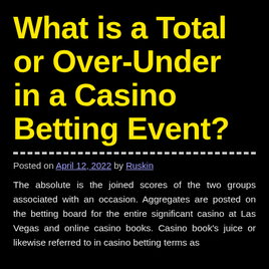What is a Total or Over-Under in a Casino Betting Event?
Posted on April 12, 2022 by Ruskin
The absolute is the joined scores of the two groups associated with an occasion. Aggregates are posted on the betting board for the entire significant casino at Las Vegas and online casino books. Casino book's juice or likewise referred to in casino betting terms as